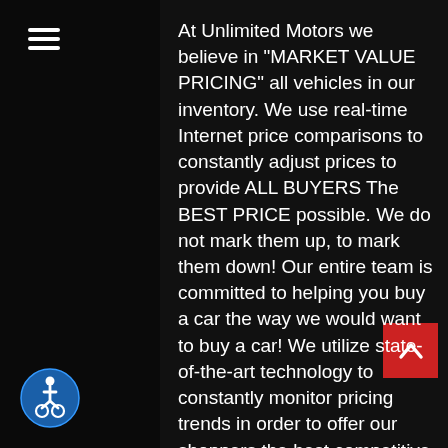[Figure (other): Hamburger menu icon (three horizontal white lines) in top-left dark panel]
At Unlimited Motors we believe in "MARKET VALUE PRICING" all vehicles in our inventory. We use real-time Internet price comparisons to constantly adjust prices to provide ALL BUYERS The BEST PRICE possible. We do not mark them up, to mark them down! Our entire team is committed to helping you buy a car the way we would want to buy a car! We utilize state-of-the-art technology to constantly monitor pricing trends in order to offer our shoppers the best competitive pricing and value. We sell and service all makes and models of Pre-owned / Used Vehicles Used Cars, Used Trucks, Used Sport Utility, 10K under used cars, Ford, Chevrolet/Chevy, Honda, Toyota, Porsche,
[Figure (other): Accessibility icon — wheelchair user symbol in a blue circle, bottom-left]
[Figure (other): Scroll-to-top button — red square with white upward chevron, bottom-right]